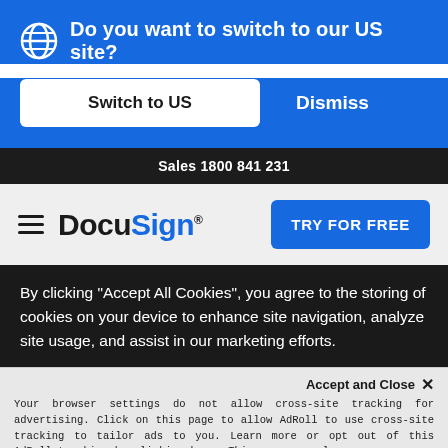Do you want to switch to our US site?
Switch to US
Dismiss
Sales 1800 841 231
[Figure (logo): DocuSign logo with hamburger menu and TRY FOR FREE button]
By clicking "Accept All Cookies", you agree to the storing of cookies on your device to enhance site navigation, analyze site usage, and assist in our marketing efforts.
Accept and Close ✕
Your browser settings do not allow cross-site tracking for advertising. Click on this page to allow AdRoll to use cross-site tracking to tailor ads to you. Learn more or opt out of this AdRoll tracking by clicking here. This message only appears once.